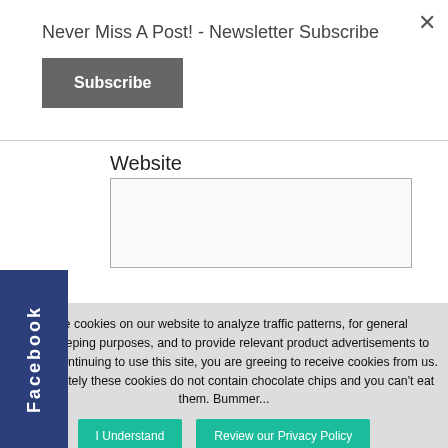Never Miss A Post! - Newsletter Subscribe
Subscribe
Website
[Figure (screenshot): Website text input field (empty)]
Facebook
e use cookies on our website to analyze traffic patterns, for general housekeeping purposes, and to provide relevant product advertisements to you. By continuing to use this site, you are greeing to receive cookies from us. Unfortunately these cookies do not contain chocolate chips and you can't eat them. Bummer...
I Understand
Review our Privacy Policy